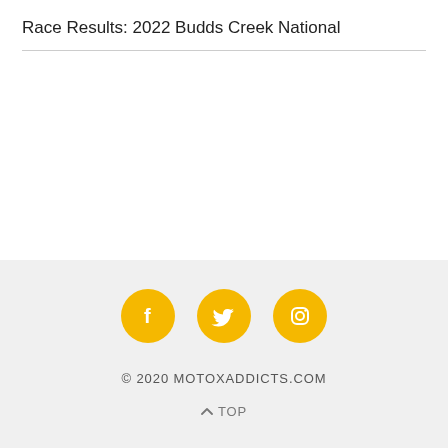Race Results: 2022 Budds Creek National
© 2020 MOTOXADDICTS.COM
↑ TOP